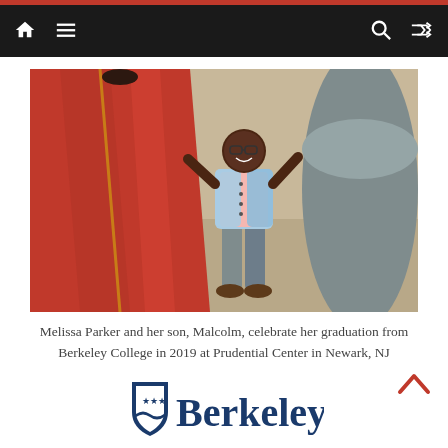Navigation bar with home, menu, search, and shuffle icons
[Figure (photo): Overhead/angled photo of a young boy in a light blue vest and jeans standing next to a person in a long red dress/gown, on a concrete outdoor area with a large cylindrical planter visible]
Melissa Parker and her son, Malcolm, celebrate her graduation from Berkeley College in 2019 at Prudential Center in Newark, NJ
[Figure (logo): Berkeley College logo with shield emblem and 'Berkeley' text in navy blue]